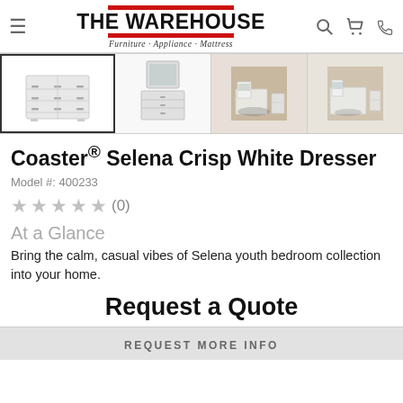The Warehouse Furniture · Appliance · Mattress
[Figure (photo): Product thumbnail strip showing 4 images: white dresser front view (selected), dresser with mirror, bedroom set with bed and dresser, another bedroom set view]
Coaster® Selena Crisp White Dresser
Model #: 400233
★★★★★ (0)
At a Glance
Bring the calm, casual vibes of Selena youth bedroom collection into your home.
Request a Quote